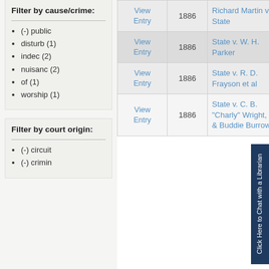Filter by cause/crime:
(-) public
disturb (1)
indec (2)
nuisanc (2)
of (1)
worship (1)
Filter by court origin:
(-) circuit
(-) crimin
|  | Year | Case |  |
| --- | --- | --- | --- |
| View Entry | 1886 | Richard Martin v. State | Kno |
| View Entry | 1886 | State v. W. H. Parker |  |
| View Entry | 1886 | State v. R. D. Frayson et al |  |
| View Entry | 1886 | State v. C. B. "Charly" Wright, Jr. & Buddie Burrow | Ma |